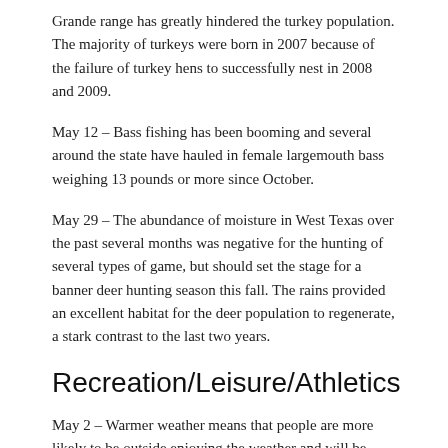Grande range has greatly hindered the turkey population. The majority of turkeys were born in 2007 because of the failure of turkey hens to successfully nest in 2008 and 2009.
May 12 – Bass fishing has been booming and several around the state have hauled in female largemouth bass weighing 13 pounds or more since October.
May 29 – The abundance of moisture in West Texas over the past several months was negative for the hunting of several types of game, but should set the stage for a banner deer hunting season this fall. The rains provided an excellent habitat for the deer population to regenerate, a stark contrast to the last two years.
Recreation/Leisure/Athletics
May 2 – Warmer weather means that people are more likely to be outside enjoying the weather and will be exposed to the sun's radiation. The American Academy of Dermatology has a campaign to educate people about melanoma and how to treat and prevent it.